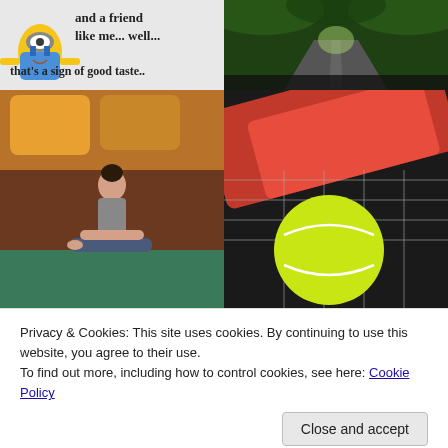[Figure (illustration): Minion character image with text: 'and a friend like me... well... that's a sign of good taste..']
[Figure (photo): Road winding through a green tunnel of trees, viewed from inside a car]
[Figure (photo): Woman doing a seated forward stretch yoga pose on a mat, indoors]
[Figure (photo): Close-up of a yellow tennis ball next to a red tennis racket]
Privacy & Cookies: This site uses cookies. By continuing to use this website, you agree to their use.
To find out more, including how to control cookies, see here: Cookie Policy
[Figure (photo): Bottom-left partial image, appears to be a landscape/nature scene]
[Figure (screenshot): Bottom-right partial image, appears to be a LinkedIn share prompt with small text and orange icon]